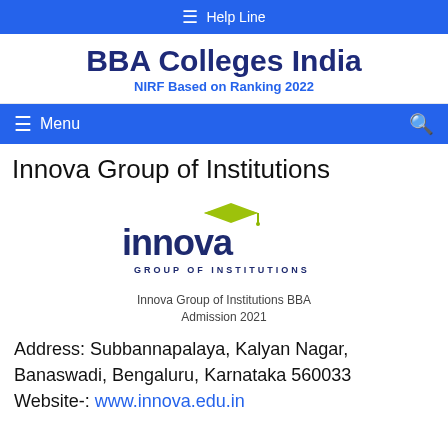≡ Help Line
BBA Colleges India
NIRF Based on Ranking 2022
≡ Menu
Innova Group of Institutions
[Figure (logo): Innova Group of Institutions logo — stylized lowercase 'innova' text in dark navy with a yellow-green graduation cap over the letter 'o', and 'GROUP OF INSTITUTIONS' in small caps below]
Innova Group of Institutions BBA Admission 2021
Address: Subbannapalaya, Kalyan Nagar, Banaswadi, Bengaluru, Karnataka 560033
Website-: www.innova.edu.in